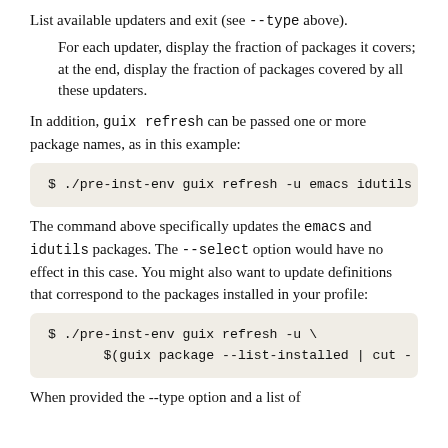List available updaters and exit (see --type above).
For each updater, display the fraction of packages it covers; at the end, display the fraction of packages covered by all these updaters.
In addition, guix refresh can be passed one or more package names, as in this example:
$ ./pre-inst-env guix refresh -u emacs idutils
The command above specifically updates the emacs and idutils packages. The --select option would have no effect in this case. You might also want to update definitions that correspond to the packages installed in your profile:
$ ./pre-inst-env guix refresh -u \
       $(guix package --list-installed | cut -
When provided the --type option and a list of